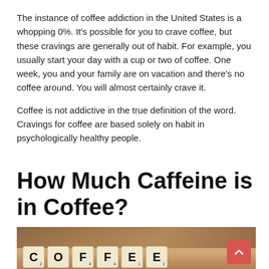The instance of coffee addiction in the United States is a whopping 0%. It's possible for you to crave coffee, but these cravings are generally out of habit. For example, you usually start your day with a cup or two of coffee. One week, you and your family are on vacation and there's no coffee around. You will almost certainly crave it.
Coffee is not addictive in the true definition of the word. Cravings for coffee are based solely on habit in psychologically healthy people.
How Much Caffeine is in Coffee?
[Figure (photo): Sepia-toned photo of Scrabble letter tiles spelling C-O-F-F-E-E on a surface with coffee beans scattered around, wooden background elements visible behind the tiles.]